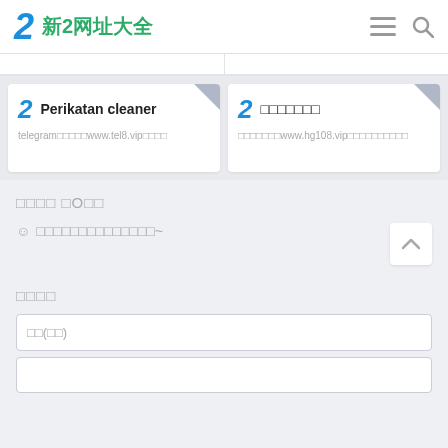2 新2网址大全
[Figure (screenshot): Two website listing cards. Left card: logo '2', title 'Perikatan cleaner', subtitle 'telegram□□□□□www.tel8.vip□□□□'. Right card: logo '2', title '□□□□□□□', subtitle '□□□□□□□www.hg108.vip□□□□□□□□□□'.]
□□□□ □O□□
☺ □□□□□□□□□□□□□□~
□□□□
□□(□□)